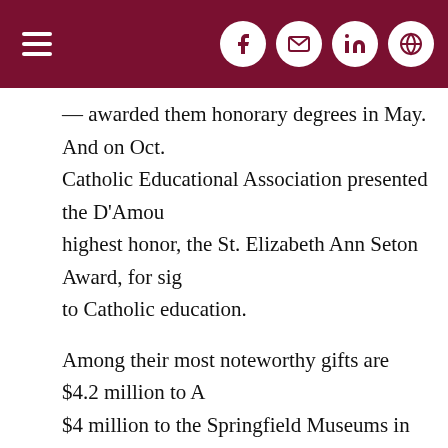— awarded them honorary degrees in May. And on Oct. Catholic Educational Association presented the D'Amou highest honor, the St. Elizabeth Ann Seton Award, for sig to Catholic education.
Among their most noteworthy gifts are $4.2 million to A $4 million to the Springfield Museums in Massachusetts provided scholarships for Catholic elementary students. developed the Fides et Ratio Challenge Grant Competitio Catholic colleges to build on their Catholic identity in the campus life and admissions.
Besides their private giving, the couple has served th